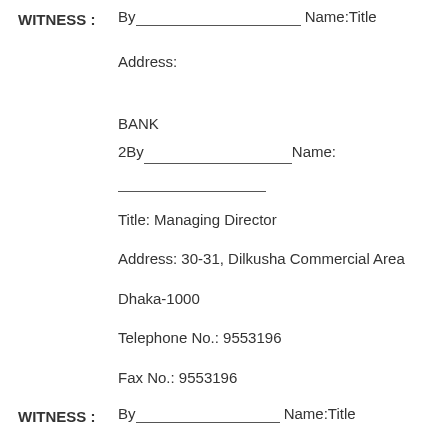WITNESS : By___________________________ Name:Title
Address:
BANK
2By___________________________ Name: ______________________
Title: Managing Director
Address: 30-31, Dilkusha Commercial Area
Dhaka-1000
Telephone No.: 9553196
Fax No.: 9553196
WITNESS : By___________________________ Name:Title
Address:
BANK